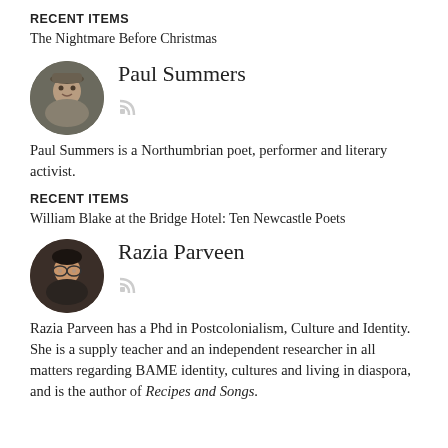RECENT ITEMS
The Nightmare Before Christmas
[Figure (photo): Circular profile photo of Paul Summers, a man wearing a hat, outdoors.]
Paul Summers
Paul Summers is a Northumbrian poet, performer and literary activist.
RECENT ITEMS
William Blake at the Bridge Hotel: Ten Newcastle Poets
[Figure (photo): Circular profile photo of Razia Parveen, a woman wearing glasses.]
Razia Parveen
Razia Parveen has a Phd in Postcolonialism, Culture and Identity. She is a supply teacher and an independent researcher in all matters regarding BAME identity, cultures and living in diaspora, and is the author of Recipes and Songs.